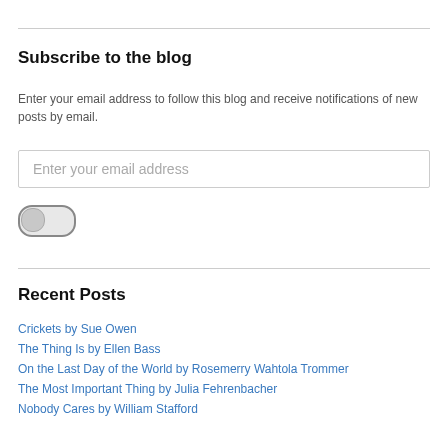Subscribe to the blog
Enter your email address to follow this blog and receive notifications of new posts by email.
Enter your email address
[Figure (other): Toggle/follow button, pill-shaped, gray, unselected state]
Recent Posts
Crickets by Sue Owen
The Thing Is by Ellen Bass
On the Last Day of the World by Rosemerry Wahtola Trommer
The Most Important Thing by Julia Fehrenbacher
Nobody Cares by William Stafford